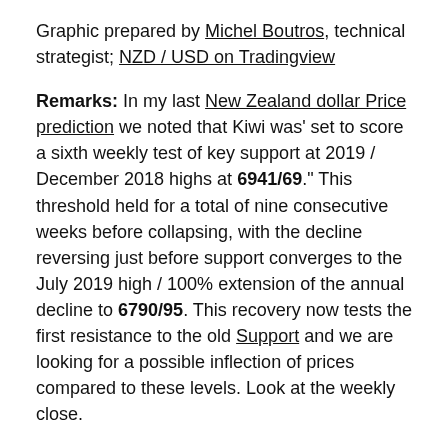Graphic prepared by Michel Boutros, technical strategist; NZD / USD on Tradingview
Remarks: In my last New Zealand dollar Price prediction we noted that Kiwi was' set to score a sixth weekly test of key support at 2019 / December 2018 highs at 6941/69." This threshold held for a total of nine consecutive weeks before collapsing, with the decline reversing just before support converges to the July 2019 high / 100% extension of the annual decline to 6790/95. This recovery now tests the first resistance to the old Support and we are looking for a possible inflection of prices compared to these levels. Look at the weekly close.
Ultimately, a breach / close to the upside above the 100-day moving average at 7013 is needed to invalidate the monthly downtrend with such a scenario exposing the 61.8% Fibonacci retracement of the decline from May to 7121 and the annual